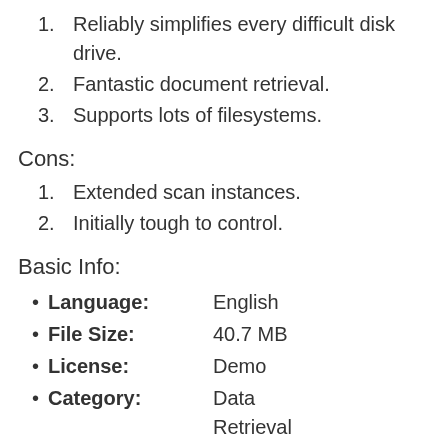1. Reliably simplifies every difficult disk drive.
2. Fantastic document retrieval.
3. Supports lots of filesystems.
Cons:
1. Extended scan instances.
2. Initially tough to control.
Basic Info:
Language: English
File Size: 40.7 MB
License: Demo
Category: Data Retrieval
Manufacturer: R Tools